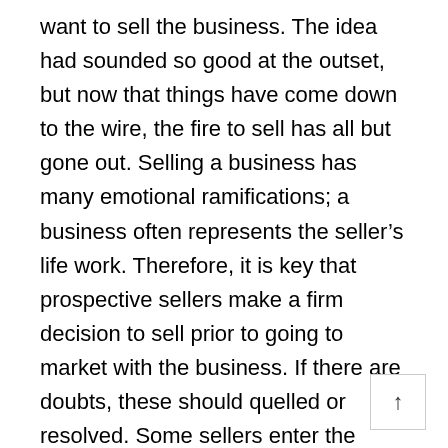want to sell the business. The idea had sounded so good at the outset, but now that things have come down to the wire, the fire to sell has all but gone out. Selling a business has many emotional ramifications; a business often represents the seller's life work. Therefore, it is key that prospective sellers make a firm decision to sell prior to going to market with the business. If there are doubts, these should quelled or resolved. Some sellers enter the marketplace just to test the waters; to see if they could get their "price," should they ever get really serious. This type of seller is the bane of business brokers and buyers alike. Business brokers generally can tell when they encounter the casual (as opposed to serious) category of seller. However, an inexperienced buyer